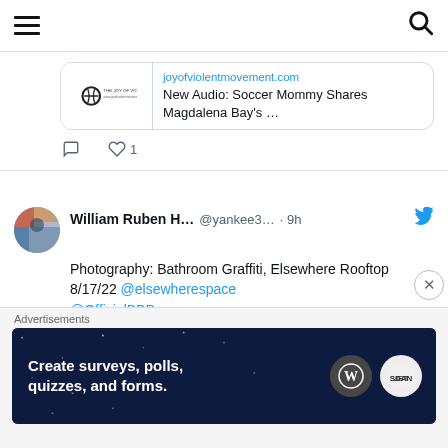Navigation header with hamburger menu and search icon
[Figure (screenshot): Partial tweet showing a link card for joyofviolentmovement.com with article title 'New Audio: Soccer Mommy Shares Magdalena Bay's ...' and action icons (comment, heart with 1 like)]
William Ruben H... @yankee3... · 9h
Photography: Bathroom Graffiti, Elsewhere Rooftop 8/17/22 @elsewherespace @OfficialBBD joyofviolentmovement.com/photography-ba...
[Figure (photo): Photo of bathroom tiles with graffiti text partially visible reading 'Smack it up &']
Advertisements
[Figure (screenshot): Advertisement banner with dark background reading 'Create surveys, polls, quizzes, and forms.' with WordPress and Jetpack logos]